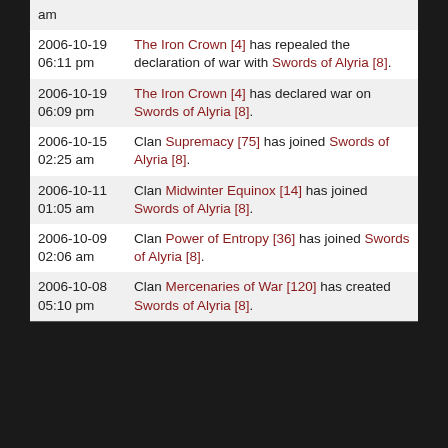| Date | Event |
| --- | --- |
| am | The Iron Crown [4] has repealed the declaration of war with Swords of Alyria [8]. |
| 2006-10-19 06:11 pm | The Iron Crown [4] has repealed the declaration of war with Swords of Alyria [8]. |
| 2006-10-19 06:09 pm | The Iron Crown [4] has declared war on Swords of Alyria [8]. |
| 2006-10-15 02:25 am | Clan Supremacy [75] has joined Swords of Alyria [8]. |
| 2006-10-11 01:05 am | Clan Midwinter Equinox [14] has joined Swords of Alyria [8]. |
| 2006-10-09 02:06 am | Clan Power of Entropy [36] has joined Swords of Alyria [8]. |
| 2006-10-08 05:10 pm | Clan Mercenaries of War [120] has created Swords of Alyria [8]. |